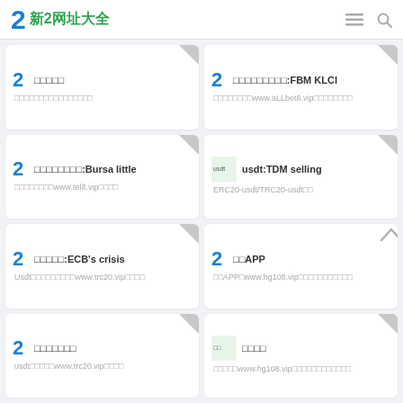2 新2网址大全
□□□□□
□□□□□□□□□□□□□□□□
□□□□□□□□□:FBM KLCI
□□□□□□□□www.aLLbet8.vip□□□□□□□□
□□□□□□□□:Bursa little
□□□□□□□□www.tel8.vip□□□□
usdt:TDM selling
ERC20-usdt/TRC20-usdt□□
□□□□□:ECB's crisis
Usdt□□□□□□□□□www.trc20.vip□□□□
□□APP
□□APP□www.hg108.vip□□□□□□□□□□□
□□□□□□□
usdt□□□□□www.trc20.vip□□□□
□□□□
□□□□□www.hg108.vip□□□□□□□□□□□□